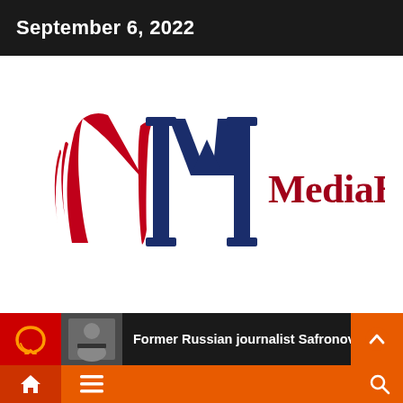September 6, 2022
[Figure (logo): MediaBizNet logo: stylized red and navy blue 'MI' monogram on left, with text 'MediaBizNet' in dark red on right]
Former Russian journalist Safronov sent
[Figure (infographic): Bottom navigation bar with home icon, hamburger menu, and search icon on orange background]